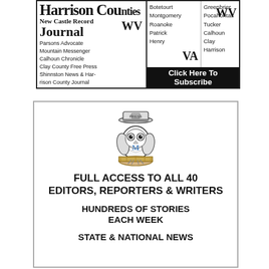[Figure (logo): Harrison County Journal newspaper subscription banner with newspaper list for WV/VA counties and a Click Here To Subscribe button]
[Figure (illustration): Cartoon owl wearing a press hat and sitting on a log, with a blue letter M on its chest — mascot for a newspaper subscription advertisement]
FULL ACCESS TO ALL 40 EDITORS, REPORTERS & WRITERS
HUNDREDS OF STORIES EACH WEEK
STATE & NATIONAL NEWS